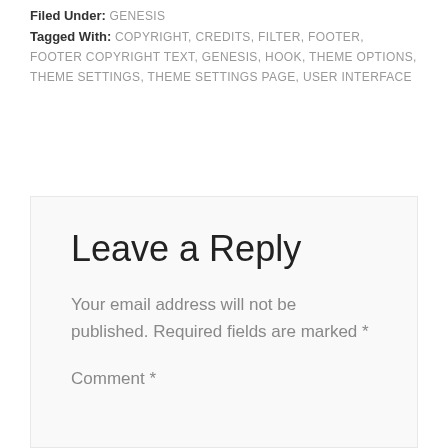Filed Under: GENESIS
Tagged With: COPYRIGHT, CREDITS, FILTER, FOOTER, FOOTER COPYRIGHT TEXT, GENESIS, HOOK, THEME OPTIONS, THEME SETTINGS, THEME SETTINGS PAGE, USER INTERFACE
Leave a Reply
Your email address will not be published. Required fields are marked *
Comment *